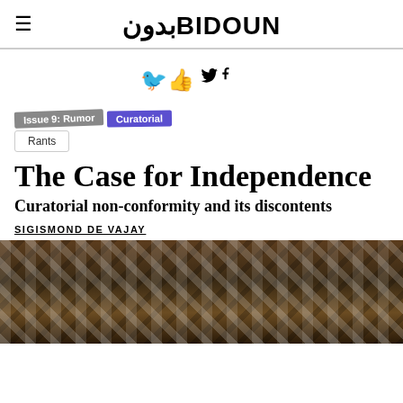☰ بدون BIDOUN
🐦 Facebook (social share icons)
Issue 9: Rumor  Curatorial  Rants
The Case for Independence
Curatorial non-conformity and its discontents
SIGISMOND DE VAJAY
[Figure (photo): Interior architectural photograph showing a ceiling or roof structure with metal grid/lattice work, warm brown and amber tones, industrial-style space with horizontal strips and diagonal patterns]